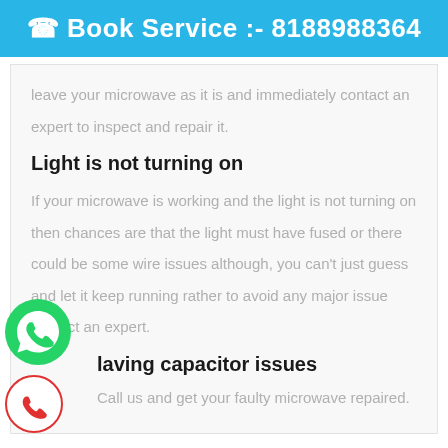Book Service :- 8188988364
leave your microwave as it is and immediately contact an expert to inspect and repair it.
Light is not turning on
If your microwave is working and the light is not turning on then chances are that the light must have fused or there could be some wire issues although, you can't just guess and let it keep running rather to avoid any major issue contact an expert.
laving capacitor issues
Call us and get your faulty microwave repaired.